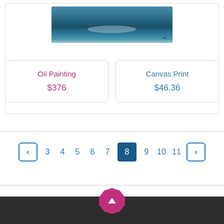[Figure (photo): Ocean/sea waves painting with artist signature in bottom right corner]
Oil Painting
$376
Canvas Print
$46.36
‹ 3 4 5 6 7 8 9 10 11 ›
[Figure (other): Back to top button - pink/magenta decagon shape with upward chevron arrow]